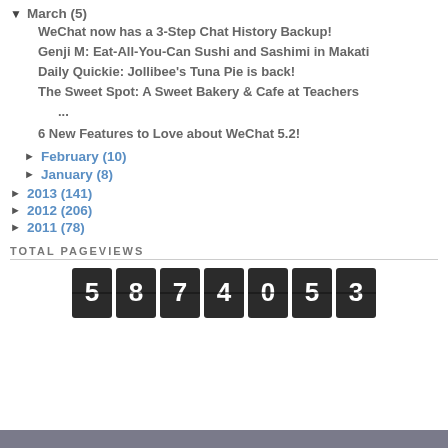▼ March (5)
WeChat now has a 3-Step Chat History Backup!
Genji M: Eat-All-You-Can Sushi and Sashimi in Makati
Daily Quickie: Jollibee's Tuna Pie is back!
The Sweet Spot: A Sweet Bakery & Cafe at Teachers
...
6 New Features to Love about WeChat 5.2!
► February (10)
► January (8)
► 2013 (141)
► 2012 (206)
► 2011 (78)
TOTAL PAGEVIEWS
[Figure (other): Flip counter showing 5874053 total pageviews in dark digit boxes]